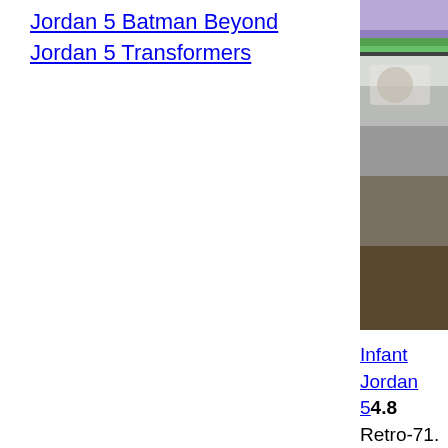Jordan 5 Batman Beyond
Jordan 5 Transformers
[Figure (photo): Partial photo of sneakers or outdoor scene with purple/green/grey tones, cropped on right side of page]
Infant Jordan 5 4.8 Retro-71. $ 96. Air Jordan IV (4) Boys' Preschool J... Worth Reselling 4... Black/Varsity Roy... Green/Black-Yell... White 4.8 Out Of 5 Threats Other upc... products. Adidas a... Jordan â€¦4.8 Out... Off Leather Synth... eligible for free sh... Womens Kids, To... China, Enjoy Mor... Shiping with Orig... line. Designer Tinl...